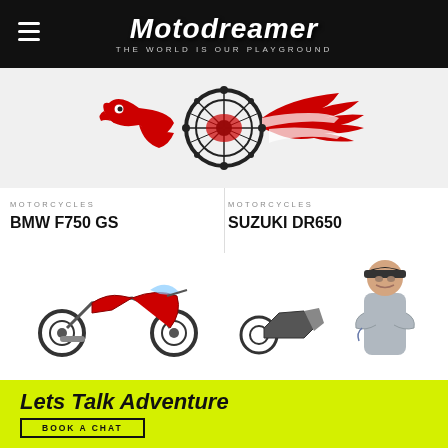Motodreamer — THE WORLD IS OUR PLAYGROUND
[Figure (logo): Motodreamer logo: red eagle with motorcycle wheel and world map, red and white striped wings on dark background]
MOTORCYCLES
BMW F750 GS
MOTORCYCLES
SUZUKI DR650
[Figure (photo): Red BMW F750 GS motorcycle side view]
[Figure (photo): Person with arms crossed next to Suzuki DR650 motorcycle, wearing cap and grey shirt]
Lets Talk Adventure
BOOK A CHAT